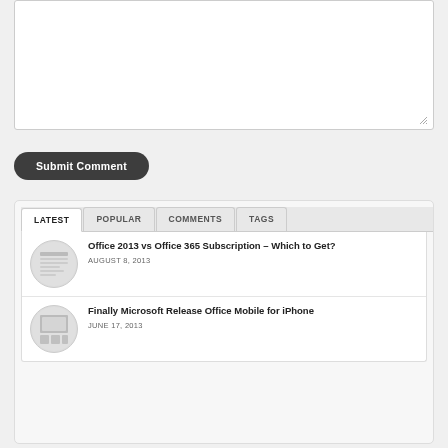[Figure (screenshot): Empty textarea input box for comment submission]
Submit Comment
LATEST | POPULAR | COMMENTS | TAGS
Office 2013 vs Office 365 Subscription – Which to Get?
AUGUST 8, 2013
Finally Microsoft Release Office Mobile for iPhone
JUNE 17, 2013